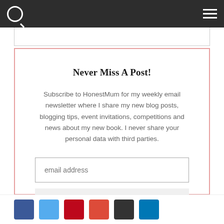Navigation bar with search and hamburger menu
Never Miss A Post!
Subscribe to HonestMum for my weekly email newsletter where I share my new blog posts, blogging tips, event invitations, competitions and news about my new book. I never share your personal data with third parties.
email address
SUBSCRIBE